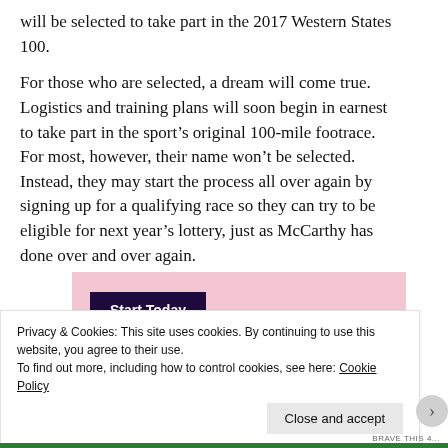will be selected to take part in the 2017 Western States 100.
For those who are selected, a dream will come true. Logistics and training plans will soon begin in earnest to take part in the sport's original 100-mile footrace. For most, however, their name won't be selected. Instead, they may start the process all over again by signing up for a qualifying race so they can try to be eligible for next year's lottery, just as McCarthy has done over and over again.
[Figure (screenshot): Pink advertisement box with a dark purple 'Start Today' button and WordPress.com logo badge at bottom right]
Privacy & Cookies: This site uses cookies. By continuing to use this website, you agree to their use.
To find out more, including how to control cookies, see here: Cookie Policy
Close and accept